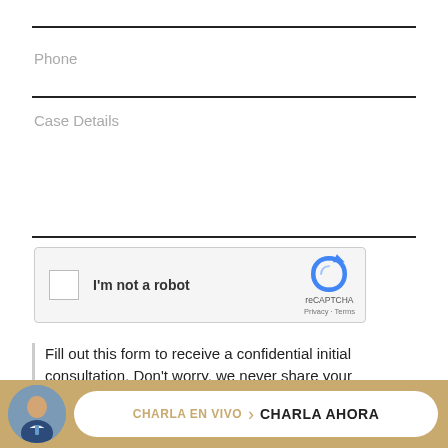Phone
Case Details
[Figure (other): reCAPTCHA widget with checkbox labeled 'I'm not a robot', reCAPTCHA logo, Privacy and Terms links]
Fill out this form to receive a confidential initial consultation. Don't worry, we never share your
CHARLA EN VIVO  ›  CHARLA AHORA